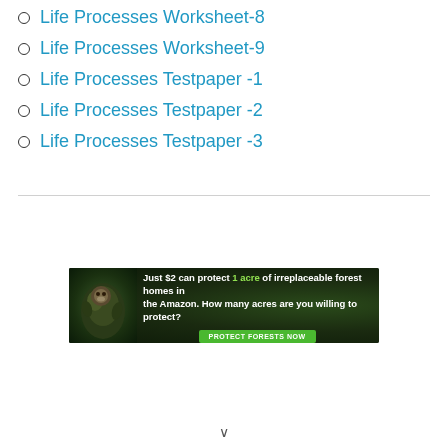Life Processes Worksheet-8
Life Processes Worksheet-9
Life Processes Testpaper -1
Life Processes Testpaper -2
Life Processes Testpaper -3
[Figure (illustration): Amazon rainforest conservation advertisement banner showing an orangutan in a dark forest background with text 'Just $2 can protect 1 acre of irreplaceable forest homes in the Amazon. How many acres are you willing to protect?' and a green 'PROTECT FORESTS NOW' button.]